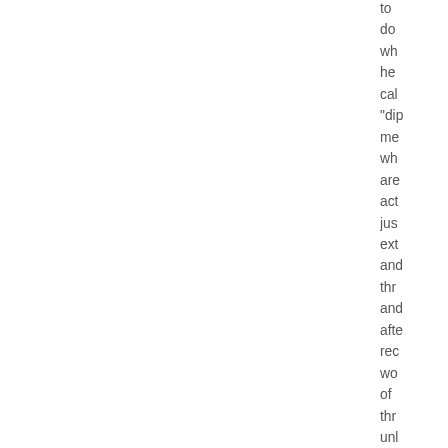to do wh he cal "dip me wh are act jus ext and thr and afte rec wo of thr unl shi sai fro